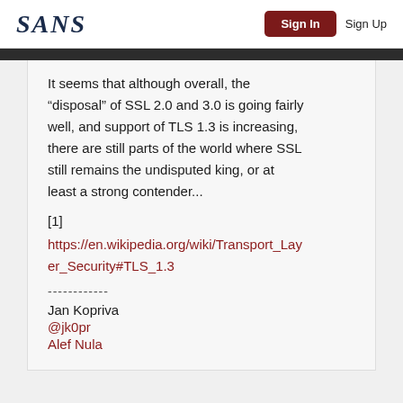SANS | Sign In | Sign Up
It seems that although overall, the “disposal” of SSL 2.0 and 3.0 is going fairly well, and support of TLS 1.3 is increasing, there are still parts of the world where SSL still remains the undisputed king, or at least a strong contender...
[1]
https://en.wikipedia.org/wiki/Transport_Layer_Security#TLS_1.3
------------
Jan Kopriva
@jk0pr
Alef Nula